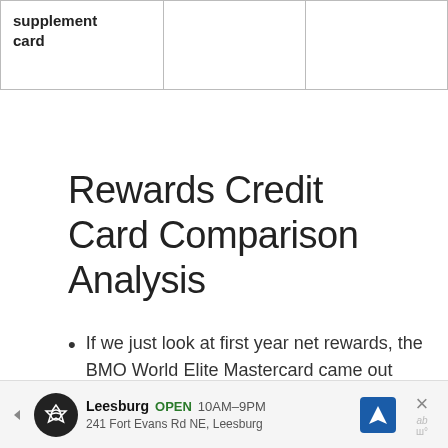| supplement card |  |  |
Rewards Credit Card Comparison Analysis
If we just look at first year net rewards, the BMO World Elite Mastercard came out ahead. But BMO devalued the redemption and earn rates in 2018, so I'm a